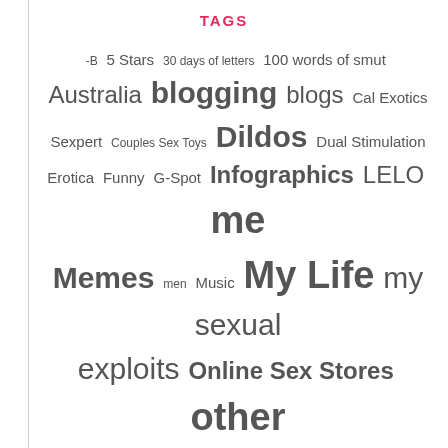TAGS
[Figure (infographic): Tag cloud with words of varying sizes representing categories: -B, 5 Stars, 30 days of letters, 100 words of smut, Australia, blogging, blogs, Cal Exotics Sexpert, Couples Sex Toys, Dildos, Dual Stimulation, Erotica, Funny, G-Spot, Infographics, LELO, me, Memes, men, Music, My Life, my sexual exploits, Online Sex Stores, other stuff, Our Bodies, Porn, Rant, rechargeable, Red October, sex, sex blogs, sex toy giveaways, sex toy reviews, Sex Toys, Sexual Imagery, Silicone, Solo Sex, squirting, strange facts, via twitter, Vibrators, Wanton Wednesday, waterproof, Weekend Reading, WTMFI]